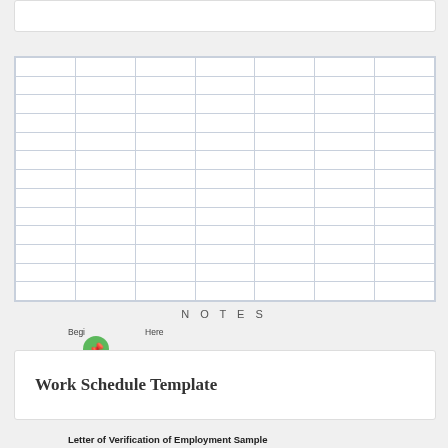[Figure (table-as-image): Empty grid/table with light blue borders, 7 columns and approximately 13 rows, all cells blank]
NOTES
Begin Here
Work Schedule Template
Letter of Verification of Employment Sample
Amanda C. Willis
1110 Lindale Avenue
Oakland, CA 94612